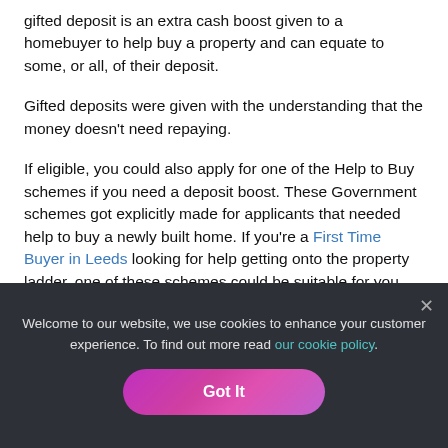gifted deposit is an extra cash boost given to a homebuyer to help buy a property and can equate to some, or all, of their deposit.
Gifted deposits were given with the understanding that the money doesn't need repaying.
If eligible, you could also apply for one of the Help to Buy schemes if you need a deposit boost. These Government schemes got explicitly made for applicants that needed help to buy a newly built home. If you're a First Time Buyer in Leeds looking for help getting onto the property ladder, one of these schemes could be suitable for you.
Welcome to our website, we use cookies to enhance your customer experience. To find out more read our cookie policy.